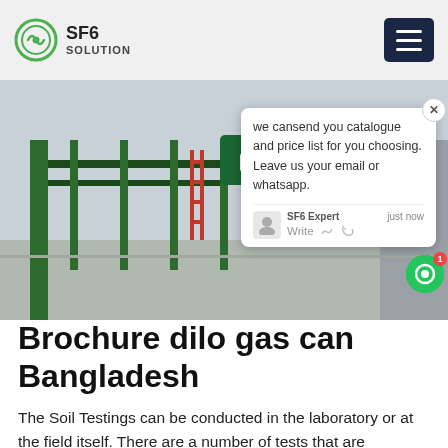SF6 SOLUTION
[Figure (photo): Photo of a Chinese electrical substation entrance with a green sign reading 国网桂山500kV变电站, with green fence pillars and grey structures visible.]
Brochure dilo gas can Bangladesh
The Soil Testings can be conducted in the laboratory or at the field itself. There are a number of tests that are conducted to understand the